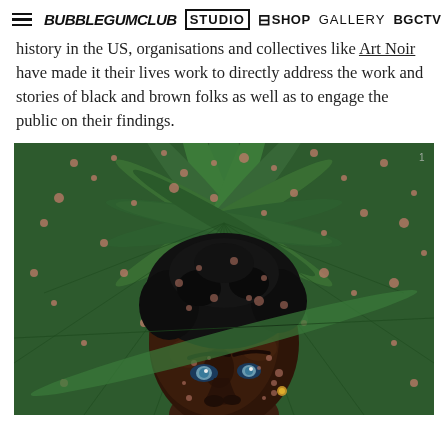≡ BUBBLEGUMCLUB STUDIO ⊟SHOP GALLERY BGCTV
history in the US, organisations and collectives like Art Noir have made it their lives work to directly address the work and stories of black and brown folks as well as to engage the public on their findings.
[Figure (illustration): A detailed painting of a Black man's face partially obscured by large green tropical palm leaves with rust/salmon colored flecks. The subject has natural black hair, light colored eyes, and a gold earring. The background is dominated by radiating green palm fronds with pink-orange speckled texture.]